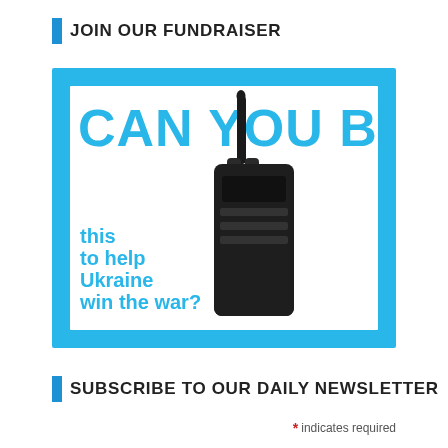JOIN OUR FUNDRAISER
[Figure (infographic): An advertisement banner with a cyan/blue border and white interior. Large bold cyan text at top reads 'CAN YOU BUY'. A photo of a black Motorola walkie-talkie radio is in the center-right. Cyan bold text at lower-left reads 'this to help Ukraine win the war?']
SUBSCRIBE TO OUR DAILY NEWSLETTER
* indicates required